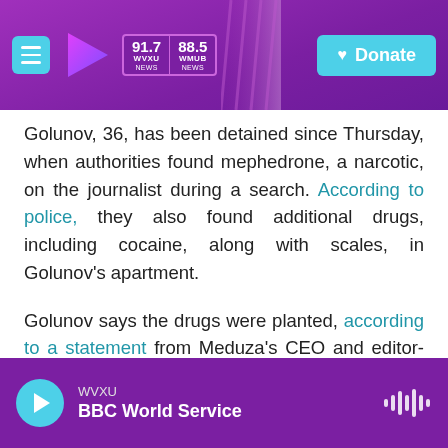WVXU 91.7 NEWS | 88.5 WMUB NEWS | Donate
Golunov, 36, has been detained since Thursday, when authorities found mephedrone, a narcotic, on the journalist during a search. According to police, they also found additional drugs, including cocaine, along with scales, in Golunov's apartment.
Golunov says the drugs were planted, according to a statement from Meduza's CEO and editor-in-chief. The site also wrote that its correspondent was beaten in police custody and that he had to wait almost 14 hours to see his lawyer.
WVXU | BBC World Service